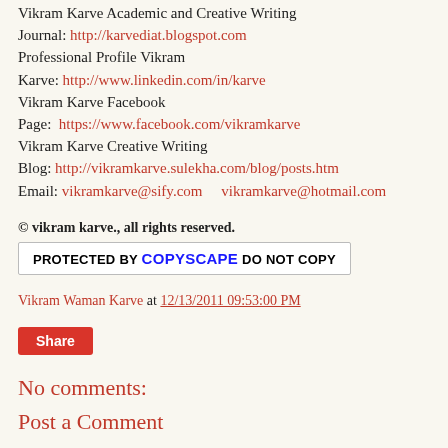Vikram Karve Academic and Creative Writing Journal: http://karvediat.blogspot.com
Professional Profile Vikram Karve: http://www.linkedin.com/in/karve
Vikram Karve Facebook Page: https://www.facebook.com/vikramkarve
Vikram Karve Creative Writing Blog: http://vikramkarve.sulekha.com/blog/posts.htm
Email: vikramkarve@sify.com     vikramkarve@hotmail.com
© vikram karve., all rights reserved.
[Figure (other): Copyscape protected badge: PROTECTED BY COPYSCAPE DO NOT COPY]
Vikram Waman Karve at 12/13/2011 09:53:00 PM
Share
No comments:
Post a Comment